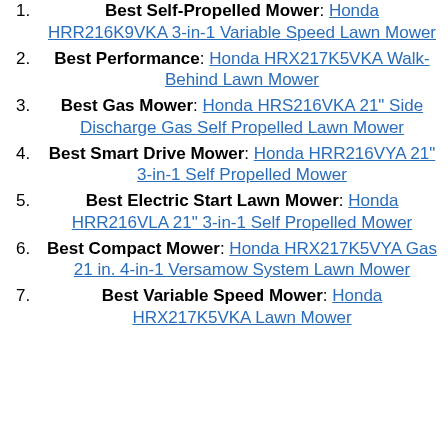Best Self-Propelled Mower: Honda HRR216K9VKA 3-in-1 Variable Speed Lawn Mower
Best Performance: Honda HRX217K5VKA Walk-Behind Lawn Mower
Best Gas Mower: Honda HRS216VKA 21" Side Discharge Gas Self Propelled Lawn Mower
Best Smart Drive Mower: Honda HRR216VYA 21" 3-in-1 Self Propelled Mower
Best Electric Start Lawn Mower: Honda HRR216VLA 21" 3-in-1 Self Propelled Mower
Best Compact Mower: Honda HRX217K5VYA Gas 21 in. 4-in-1 Versamow System Lawn Mower
Best Variable Speed Mower: Honda HRX217K5VKA Lawn Mower